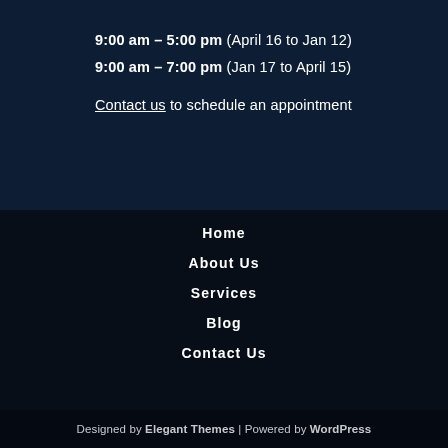9:00 am – 5:00 pm (April 16 to Jan 12)
9:00 am – 7:00 pm (Jan 17 to April 15)
Contact us to schedule an appointment
Home
About Us
Services
Blog
Contact Us
Designed by Elegant Themes | Powered by WordPress